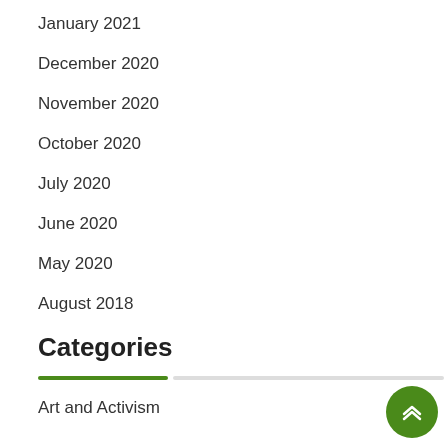January 2021
December 2020
November 2020
October 2020
July 2020
June 2020
May 2020
August 2018
Categories
Art and Activism